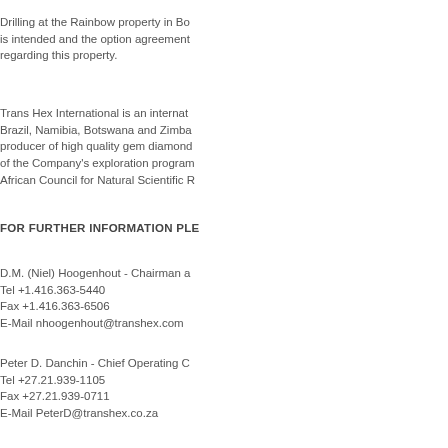Drilling at the Rainbow property in Bo is intended and the option agreement regarding this property.
Trans Hex International is an internat Brazil, Namibia, Botswana and Zimba producer of high quality gem diamond of the Company's exploration program African Council for Natural Scientific R
FOR FURTHER INFORMATION PLE
D.M. (Niel) Hoogenhout - Chairman a
Tel +1.416.363-5440
Fax +1.416.363-6506
E-Mail nhoogenhout@transhex.com
Peter D. Danchin - Chief Operating C
Tel +27.21.939-1105
Fax +27.21.939-0711
E-Mail PeterD@transhex.co.za
Peter W.A. Walker - Vice President, E
Tel +27.21.939-1105